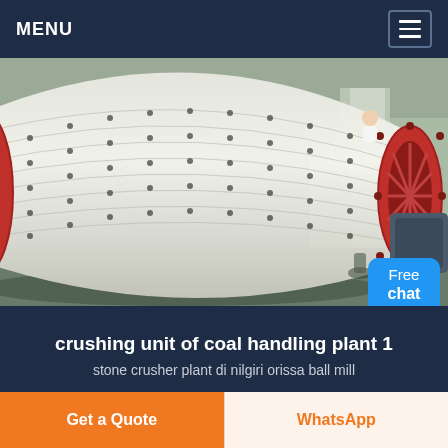MENU
[Figure (photo): Industrial ball mill / grinding mill in a factory setting. Large cylindrical steel drum with bolted panels, red flanged end ring, in an industrial plant interior with concrete structure.]
crushing unit of coal handling plant 1
stone crusher plant di nilgiri orissa ball mill
Get a Quote
WhatsApp